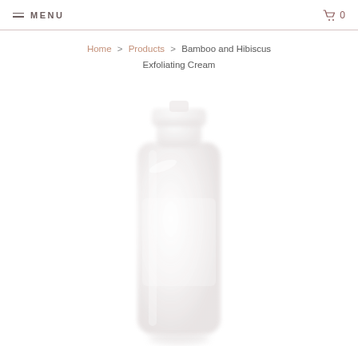MENU  0
Home > Products > Bamboo and Hibiscus Exfoliating Cream
[Figure (photo): A tall white cosmetic bottle/tube for Bamboo and Hibiscus Exfoliating Cream, shown against a white background. The bottle is slightly translucent and appears softly lit.]